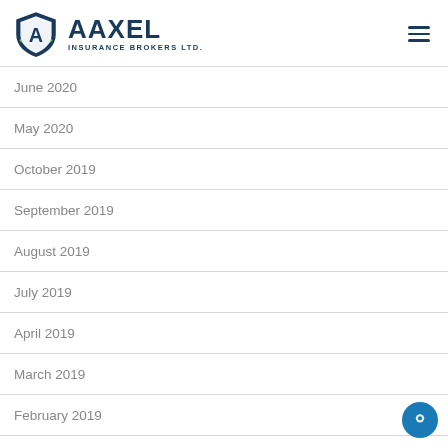[Figure (logo): Aaxel Insurance Brokers Ltd. logo with shield icon and company name]
June 2020
May 2020
October 2019
September 2019
August 2019
July 2019
April 2019
March 2019
February 2019
January 2019
December 2018